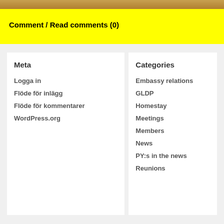[Figure (photo): Partial image strip at top of page, showing a brown/golden textured background (possibly animal fur or wood)]
Comment / Read comments (0)
Meta
Logga in
Flöde för inlägg
Flöde för kommentarer
WordPress.org
Categories
Embassy relations
GLDP
Homestay
Meetings
Members
News
PY:s in the news
Reunions